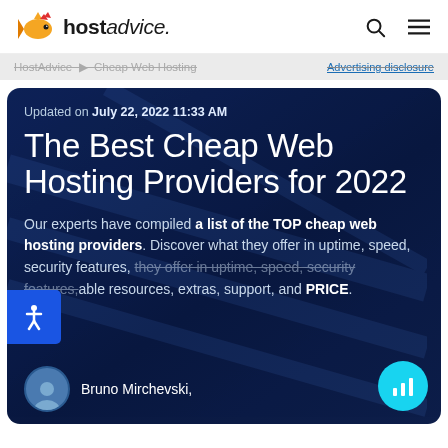hostadvice.
HostAdvice > Cheap Web Hosting  Advertising disclosure
Updated on July 22, 2022 11:33 AM
The Best Cheap Web Hosting Providers for 2022
Our experts have compiled a list of the TOP cheap web hosting providers. Discover what they offer in uptime, speed, security features, able resources, extras, support, and PRICE.
Bruno Mirchevski,